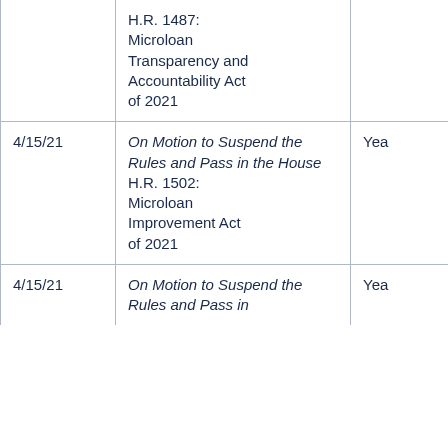| Date | Description | Vote | Result |
| --- | --- | --- | --- |
|  | H.R. 1487: Microloan Transparency and Accountability Act of 2021 |  |  |
| 4/15/21 | On Motion to Suspend the Rules and Pass in the House H.R. 1502: Microloan Improvement Act of 2021 | Yea | Passed |
| 4/15/21 | On Motion to Suspend the Rules and Pass in [the House] | Yea | Passed |